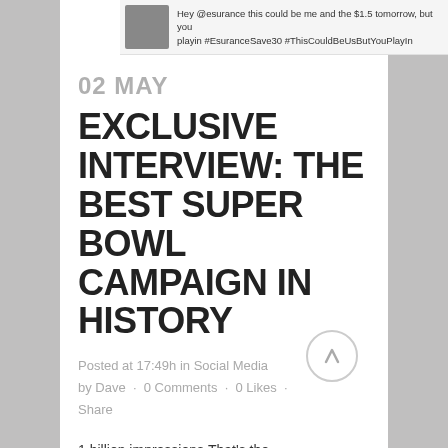[Figure (screenshot): Screenshot of a social media post with avatar photo and text: Hey @esurance this could be me and the $1.5 tomorrow, but you playin #EsuranceSave30 #ThisCouldBeUsButYouPlayIn]
02 MAY
EXCLUSIVE INTERVIEW: THE BEST SUPER BOWL CAMPAIGN IN HISTORY
Posted at 17:49h in Social Media by Dave · 0 Comments · 0 Likes · Share
1 billion impressions. That's the number of times Esurance has been